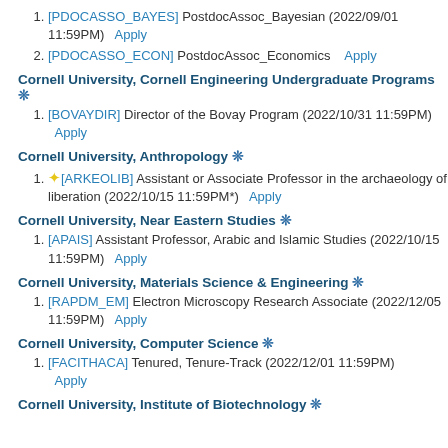[PDOCASSO_BAYES] PostdocAssoc_Bayesian (2022/09/01 11:59PM)  Apply
[PDOCASSO_ECON] PostdocAssoc_Economics  Apply
Cornell University, Cornell Engineering Undergraduate Programs ❄
[BOVAYDIR] Director of the Bovay Program (2022/10/31 11:59PM) Apply
Cornell University, Anthropology ❄
★[ARKEOLIB] Assistant or Associate Professor in the archaeology of liberation (2022/10/15 11:59PM*)  Apply
Cornell University, Near Eastern Studies ❄
[APAIS] Assistant Professor, Arabic and Islamic Studies (2022/10/15 11:59PM)  Apply
Cornell University, Materials Science & Engineering ❄
[RAPDM_EM] Electron Microscopy Research Associate (2022/12/05 11:59PM)  Apply
Cornell University, Computer Science ❄
[FACITHACA] Tenured, Tenure-Track (2022/12/01 11:59PM) Apply
Cornell University, Institute of Biotechnology ❄